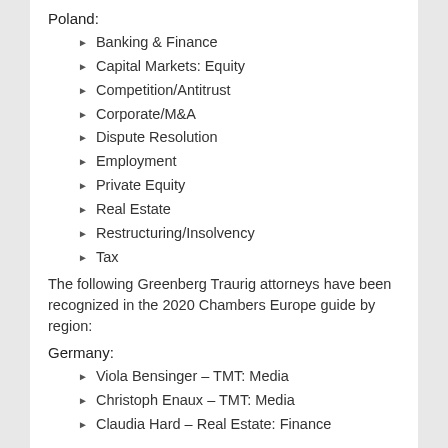Poland:
Banking & Finance
Capital Markets: Equity
Competition/Antitrust
Corporate/M&A
Dispute Resolution
Employment
Private Equity
Real Estate
Restructuring/Insolvency
Tax
The following Greenberg Traurig attorneys have been recognized in the 2020 Chambers Europe guide by region:
Germany:
Viola Bensinger – TMT: Media
Christoph Enaux – TMT: Media
Claudia Hard – Real Estate: Finance